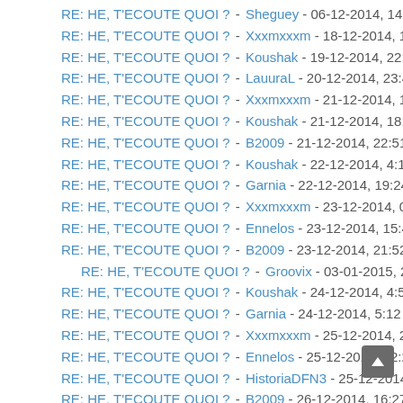RE: HE, T'ECOUTE QUOI ? - Sheguey - 06-12-2014, 14:29
RE: HE, T'ECOUTE QUOI ? - Xxxmxxxm - 18-12-2014, 1:18
RE: HE, T'ECOUTE QUOI ? - Koushak - 19-12-2014, 22:38
RE: HE, T'ECOUTE QUOI ? - LauuraL - 20-12-2014, 23:42
RE: HE, T'ECOUTE QUOI ? - Xxxmxxxm - 21-12-2014, 16:41
RE: HE, T'ECOUTE QUOI ? - Koushak - 21-12-2014, 18:16
RE: HE, T'ECOUTE QUOI ? - B2009 - 21-12-2014, 22:51
RE: HE, T'ECOUTE QUOI ? - Koushak - 22-12-2014, 4:18
RE: HE, T'ECOUTE QUOI ? - Garnia - 22-12-2014, 19:24
RE: HE, T'ECOUTE QUOI ? - Xxxmxxxm - 23-12-2014, 0:54
RE: HE, T'ECOUTE QUOI ? - Ennelos - 23-12-2014, 15:49
RE: HE, T'ECOUTE QUOI ? - B2009 - 23-12-2014, 21:52
RE: HE, T'ECOUTE QUOI ? - Groovix - 03-01-2015, 2:24
RE: HE, T'ECOUTE QUOI ? - Koushak - 24-12-2014, 4:57
RE: HE, T'ECOUTE QUOI ? - Garnia - 24-12-2014, 5:12
RE: HE, T'ECOUTE QUOI ? - Xxxmxxxm - 25-12-2014, 22:16
RE: HE, T'ECOUTE QUOI ? - Ennelos - 25-12-2014, 22:28
RE: HE, T'ECOUTE QUOI ? - HistoriaDFN3 - 25-12-2014, 22:34
RE: HE, T'ECOUTE QUOI ? - B2009 - 26-12-2014, 16:27
RE: HE, T'ECOUTE QUOI ? - Xxxmxxxm - 28-12-2014, 15:04
RE: HE, T'ECOUTE QUOI ? - Xxxmxxxm - 29-12-2014, 13:06
RE: HE, T'ECOUTE QUOI ? - OverMyCloud - 03-01-2015, 15:34
RE: HE, T'ECOUTE QUOI ? - [cut off]